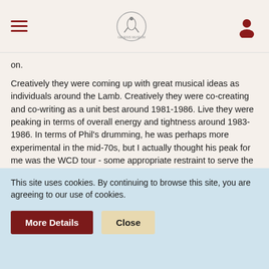[Navigation header with hamburger menu, site logo, and user icon]
on.
Creatively they were coming up with great musical ideas as individuals around the Lamb. Creatively they were co-creating and co-writing as a unit best around 1981-1986. Live they were peaking in terms of overall energy and tightness around 1983-1986. In terms of Phil's drumming, he was perhaps more experimental in the mid-70s, but I actually thought his peak for me was the WCD tour - some appropriate restraint to serve the song best. In terms of singing, his peak power was 1983, but I prefer him also on the WCD tour, where he had more warmth and wasn't quite as shout-y. As mentioned, I can't really discern peaks for Mike and Tony, who have been pretty steady throughout.
Liquid Len likes this.
This site uses cookies. By continuing to browse this site, you are agreeing to our use of cookies.